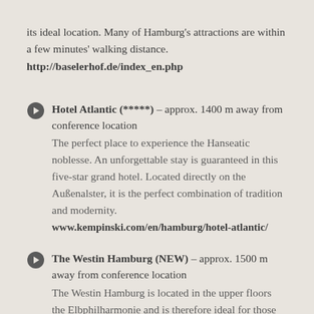its ideal location. Many of Hamburg's attractions are within a few minutes' walking distance.
http://baselerhof.de/index_en.php
Hotel Atlantic (*****) – approx. 1400 m away from conference location
The perfect place to experience the Hanseatic noblesse. An unforgettable stay is guaranteed in this five-star grand hotel. Located directly on the Außenalster, it is the perfect combination of tradition and modernity.
www.kempinski.com/en/hamburg/hotel-atlantic/
The Westin Hamburg (NEW) – approx. 1500 m away from conference location
The Westin Hamburg is located in the upper floors the Elbphilharmonie and is therefore ideal for those keen